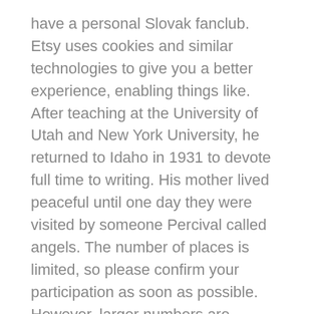have a personal Slovak fanclub. Etsy uses cookies and similar technologies to give you a better experience, enabling things like. After teaching at the University of Utah and New York University, he returned to Idaho in 1931 to devote full time to writing. His mother lived peaceful until one day they were visited by someone Percival called angels. The number of places is limited, so please confirm your participation as soon as possible. However, larger numbers are manageable if participants are split up into smaller groups, as seen in the Halton Citizens' Reference Panel which involved over 50 members of the public, split up into groups of seven or eight. El lector Quieren Sexo y el Plagio de los Fotografos Argentinos. Dr Daniel Sawyer, Fitzjames Research Fellow in Medieval English Literature at Merton College, Oxford, explains, 'We found notably low estimated survival rates for English. Mounted contests known